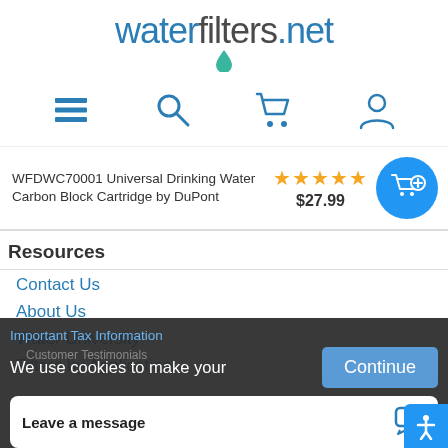[Figure (logo): waterfilters.net logo with blue and grey text and teal drop icon]
[Figure (screenshot): Navigation icons row: hamburger menu, search, cart, user account]
WFDWC70001 Universal Drinking Water Carbon Block Cartridge by DuPont
★★★★★ $27.99
[Figure (other): Add to cart blue circular button with cart and plus icon]
Resources
Contact Us
About Us
Water University
Filters by Application
Important Tax Information
We use cookies to make your
Customer Testimonials
Leave a message